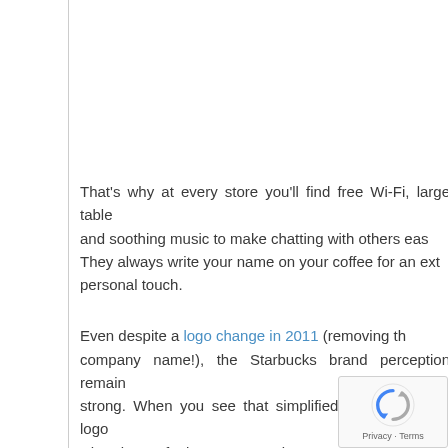That's why at every store you'll find free Wi-Fi, large tables, and soothing music to make chatting with others easy. They always write your name on your coffee for an extra personal touch.
Even despite a logo change in 2011 (removing the company name!), the Starbucks brand perception remains strong. When you see that simplified green mermaid logo, what do you feel? I guarantee it's something.
Bonus: Be your brand's advocate